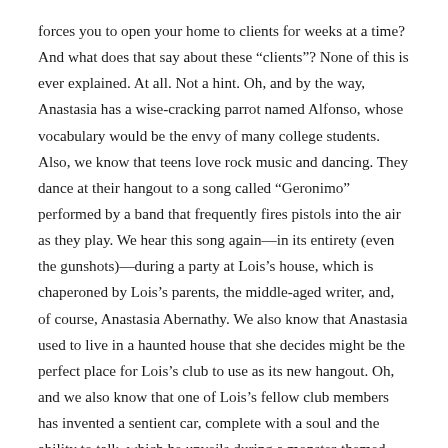forces you to open your home to clients for weeks at a time? And what does that say about these “clients”? None of this is ever explained. At all. Not a hint. Oh, and by the way, Anastasia has a wise-cracking parrot named Alfonso, whose vocabulary would be the envy of many college students. Also, we know that teens love rock music and dancing. They dance at their hangout to a song called “Geronimo” performed by a band that frequently fires pistols into the air as they play. We hear this song again—in its entirety (even the gunshots)—during a party at Lois’s house, which is chaperoned by Lois’s parents, the middle-aged writer, and, of course, Anastasia Abernathy. We also know that Anastasia used to live in a haunted house that she decides might be the perfect place for Lois’s club to use as its new hangout. Oh, and we also know that one of Lois’s fellow club members has invented a sentient car, complete with a soul and the ability to talk, which he unveils during a monster-themed party at the haunted house … a party chaperoned by the middle-aged writer and, of course, Anastasia Abernathy … a party in which there is plenty of rock music and dancing and a completely inexplicable